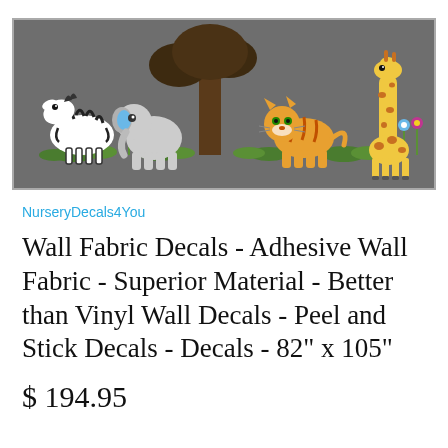[Figure (illustration): Banner image with cartoon jungle animals (zebra, elephant, tiger, giraffe) and a brown tree with colorful flowers on a dark gray background]
NurseryDecals4You
Wall Fabric Decals - Adhesive Wall Fabric - Superior Material - Better than Vinyl Wall Decals - Peel and Stick Decals - Decals - 82" x 105"
$ 194.95